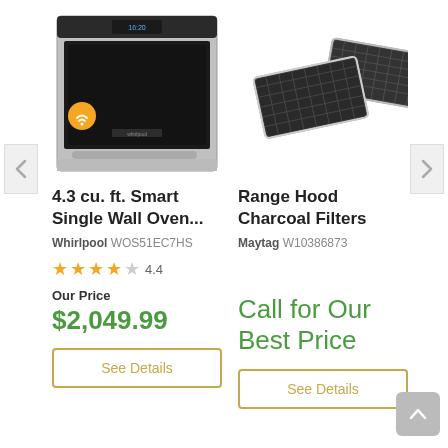[Figure (photo): Whirlpool smart single wall oven with WiFi badge, stainless steel front view]
[Figure (photo): Maytag Range Hood Charcoal Filters, two rectangular dark filter pads at an angle]
4.3 cu. ft. Smart Single Wall Oven...
Range Hood Charcoal Filters
Whirlpool WOS51EC7HS
Maytag W10386873
4.4 stars rating
Our Price
$2,049.99
Call for Our Best Price
See Details
See Details